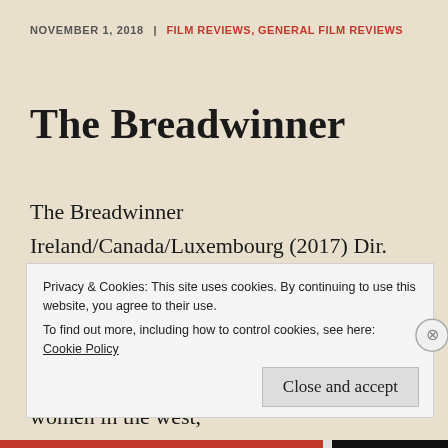NOVEMBER 1, 2018 | FILM REVIEWS, GENERAL FILM REVIEWS
The Breadwinner
The Breadwinner Ireland/Canada/Luxembourg (2017) Dir. Nora Twomey  At the risk of alienating any female readers, whilst the struggles for equality, respect and the fight against sexism in the workplace continues for women in the west,
Privacy & Cookies: This site uses cookies. By continuing to use this website, you agree to their use.
To find out more, including how to control cookies, see here: Cookie Policy
Close and accept